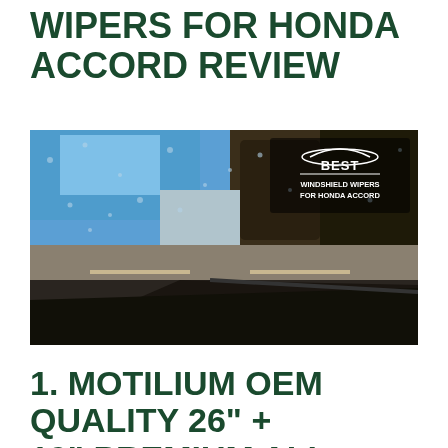WIPERS FOR HONDA ACCORD REVIEW
[Figure (photo): A photo of a rainy windshield view from inside a car, showing a wet road and trees through rain-covered glass. In the upper right corner is a white logo/overlay text reading 'BEST WINDSHIELD WIPERS FOR HONDA ACCORD' with a car silhouette icon.]
1. MOTILIUM OEM QUALITY 26" + 19" PREMIUM ALL-SEASON